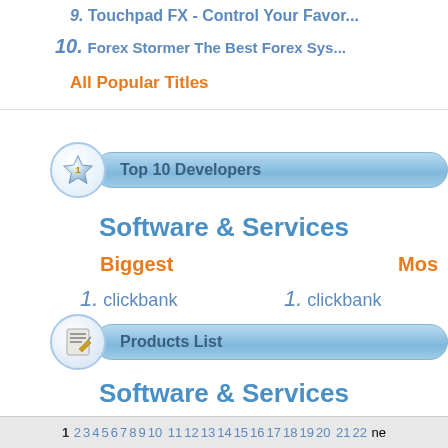9. Touchpad FX - Control Your Favor...
10. Forex Stormer The Best Forex Sys...
All Popular Titles
Top 10 Developers
Software & Services
Biggest
Mos
1. clickbank
1. clickbank
Products List
Software & Services
1 2 3 4 5 6 7 8 9 10 11 12 13 14 15 16 17 18 19 20 21 22 ne